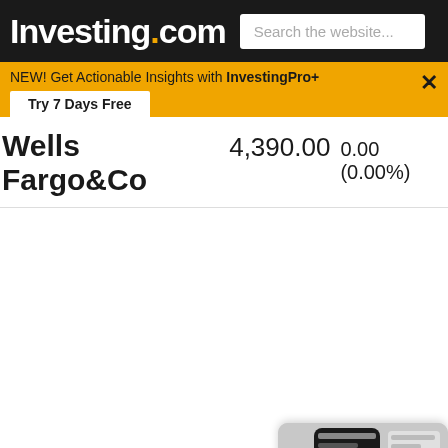Investing.com — Search the website...
NEW! Get Actionable Insights with InvestingPro+ Try 7 Days Free
Wells Fargo&Co  4,390.00  0.00 (0.00%)
[Figure (screenshot): Mobile phone screen showing Investing.com app with Apple stock data]
Investing.co
WFC Comments